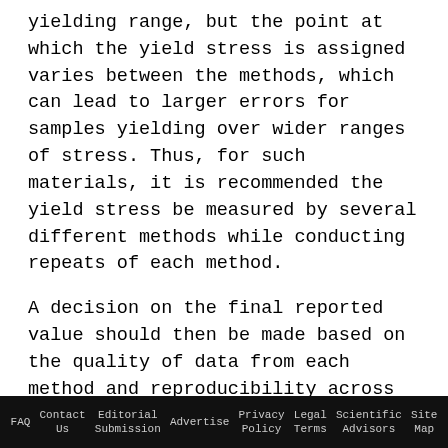yielding range, but the point at which the yield stress is assigned varies between the methods, which can lead to larger errors for samples yielding over wider ranges of stress. Thus, for such materials, it is recommended the yield stress be measured by several different methods while conducting repeats of each method.
A decision on the final reported value should then be made based on the quality of data from each method and reproducibility across methods. Nevertheless, these discrepancies further highlight the need to specify measurement protocols when quoting yield stress values and the need for
FAQ  Contact Us  Editorial Submission  Advertise  Privacy Policy  Legal Terms  Scientific Advisors  Site Map